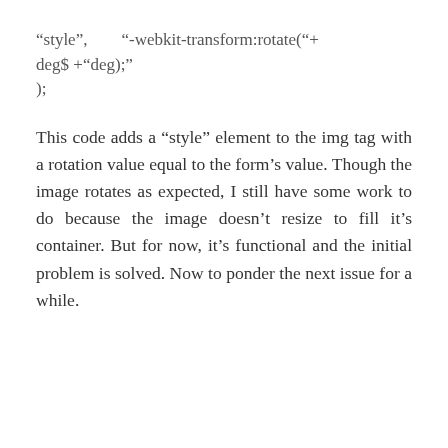“style",        "-webkit-transform:rotate("+
deg$ +"deg);"
);
This code adds a “style” element to the img tag with a rotation value equal to the form’s value. Though the image rotates as expected, I still have some work to do because the image doesn’t resize to fill it’s container. But for now, it’s functional and the initial problem is solved. Now to ponder the next issue for a while.